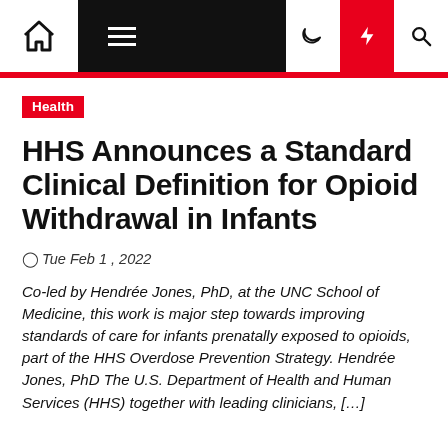Navigation bar with home, menu, moon, lightning, and search icons
Health
HHS Announces a Standard Clinical Definition for Opioid Withdrawal in Infants
Tue Feb 1, 2022
Co-led by Hendrée Jones, PhD, at the UNC School of Medicine, this work is major step towards improving standards of care for infants prenatally exposed to opioids, part of the HHS Overdose Prevention Strategy. Hendrée Jones, PhD The U.S. Department of Health and Human Services (HHS) together with leading clinicians, […]